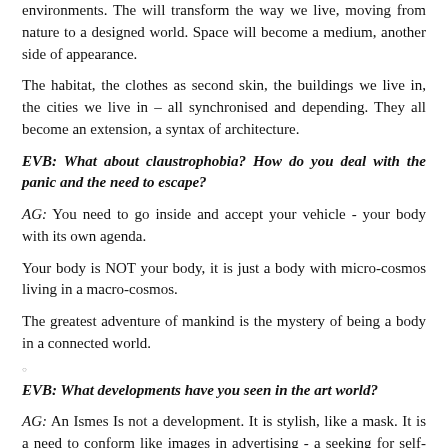environments. The will transform the way we live, moving from nature to a designed world. Space will become a medium, another side of appearance.
The habitat, the clothes as second skin, the buildings we live in, the cities we live in – all synchronised and depending. They all become an extension, a syntax of architecture.
EVB: What about claustrophobia? How do you deal with the panic and the need to escape?
AG: You need to go inside and accept your vehicle - your body with its own agenda.
Your body is NOT your body, it is just a body with micro-cosmos living in a macro-cosmos.
The greatest adventure of mankind is the mystery of being a body in a connected world.
EVB: What developments have you seen in the art world?
AG: An Ismes Is not a development. It is stylish, like a mask. It is a need to conform like images in advertising - a seeking for self-representation. A sculpture is a way of side-stepping.